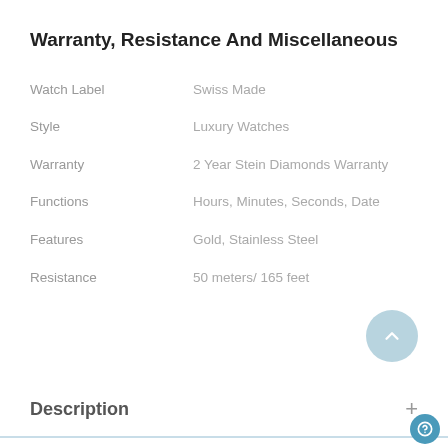Warranty, Resistance And Miscellaneous
|  |  |
| --- | --- |
| Watch Label | Swiss Made |
| Style | Luxury Watches |
| Warranty | 2 Year Stein Diamonds Warranty |
| Functions | Hours, Minutes, Seconds, Date |
| Features | Gold, Stainless Steel |
| Resistance | 50 meters/ 165 feet |
Description